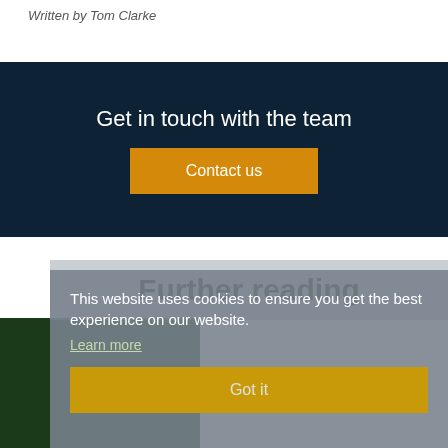Written by Tom Clarke
Get in touch with the team
Contact us
Further reading
This website uses cookies to ensure you get the best experience on our website.
Learn more
Got it